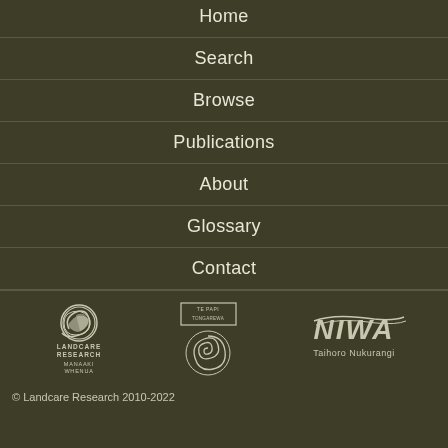Home
Search
Browse
Publications
About
Glossary
Contact
[Figure (logo): Landcare Research Manaaki Whenua logo, Te Papa logo, NIWA Taihoro Nukurangi logo]
© Landcare Research 2010-2022